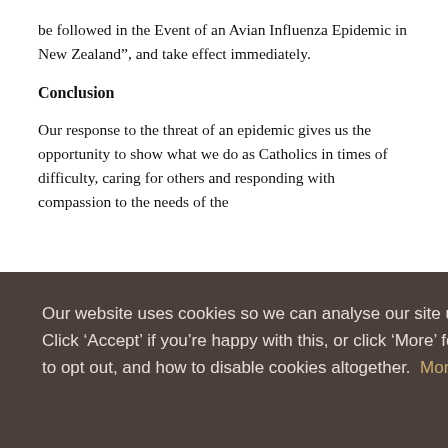be followed in the Event of an Avian Influenza Epidemic in New Zealand”, and take effect immediately.
Conclusion
Our response to the threat of an epidemic gives us the opportunity to show what we do as Catholics in times of difficulty, caring for others and responding with compassion to the needs of the
ave an
Our website uses cookies so we can analyse our site usage and give you the best experience. Click ‘Accept’ if you’re happy with this, or click ‘More’ for information about cookies on our site, how to opt out, and how to disable cookies altogether.  More
Accept